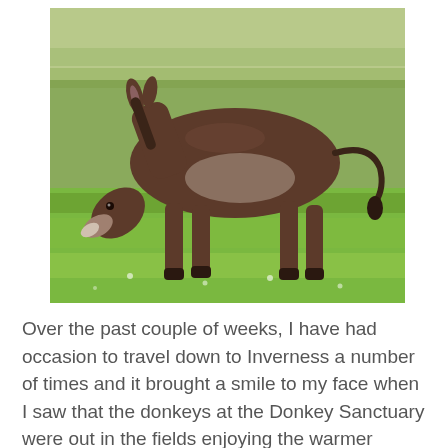[Figure (photo): A brown donkey grazing on bright green grass in a field, head lowered to the ground, viewed from the side.]
Over the past couple of weeks, I have had occasion to travel down to Inverness a number of times and it brought a smile to my face when I saw that the donkeys at the Donkey Sanctuary were out in the fields enjoying the warmer weather. Seeing